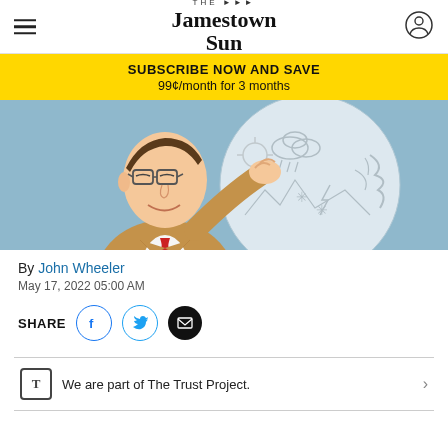The Jamestown Sun
SUBSCRIBE NOW AND SAVE
99¢/month for 3 months
[Figure (illustration): Cartoon illustration of a weatherman in a brown suit with red tie and glasses, gesturing toward a weather map showing sun, clouds, rain, snow, lightning, and a tornado on a light blue background.]
By John Wheeler
May 17, 2022 05:00 AM
SHARE
We are part of The Trust Project.